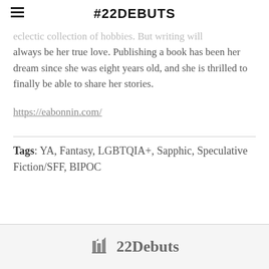#22DEBUTS
eclectic collection of hobbies. But writing will always be her true love. Publishing a book has been her dream since she was eight years old, and she is thrilled to finally be able to share her stories.
https://eabonnin.com/
Tags: YA, Fantasy, LGBTQIA+, Sapphic, Speculative Fiction/SFF, BIPOC
22Debuts